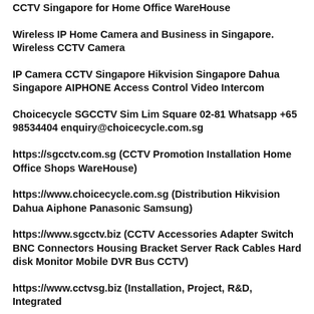CCTV Singapore for Home Office WareHouse
Wireless IP Home Camera and Business in Singapore. Wireless CCTV Camera
IP Camera CCTV Singapore Hikvision Singapore Dahua Singapore AIPHONE Access Control Video Intercom
Choicecycle SGCCTV Sim Lim Square 02-81 Whatsapp +65 98534404 enquiry@choicecycle.com.sg
https://sgcctv.com.sg (CCTV Promotion Installation Home Office Shops WareHouse)
https://www.choicecycle.com.sg (Distribution Hikvision Dahua Aiphone Panasonic Samsung)
https://www.sgcctv.biz (CCTV Accessories Adapter Switch BNC Connectors Housing Bracket Server Rack Cables Hard disk Monitor Mobile DVR Bus CCTV)
https://www.cctvsg.biz (Installation, Project, R&D, Integrated